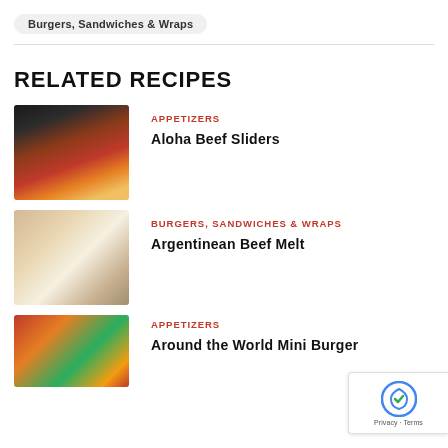Burgers, Sandwiches & Wraps
RELATED RECIPES
[Figure (photo): Food photo of beef mixture in a dark skillet pan]
APPETIZERS
Aloha Beef Sliders
[Figure (photo): Food photo of an Argentinean beef melt sandwich on bread]
BURGERS, SANDWICHES & WRAPS
Argentinean Beef Melt
[Figure (photo): Food photo of an Around the World Mini Burger]
APPETIZERS
Around the World Mini Burger